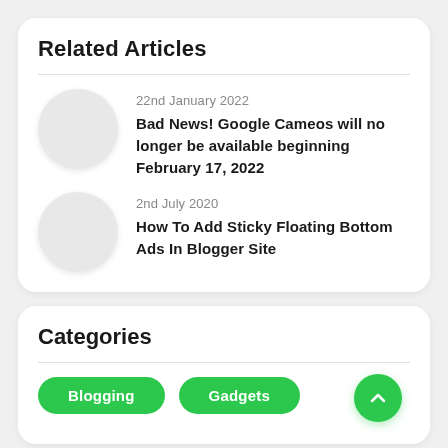Related Articles
22nd January 2022
Bad News! Google Cameos will no longer be available beginning February 17, 2022
2nd July 2020
How To Add Sticky Floating Bottom Ads In Blogger Site
Categories
Blogging
Gadgets